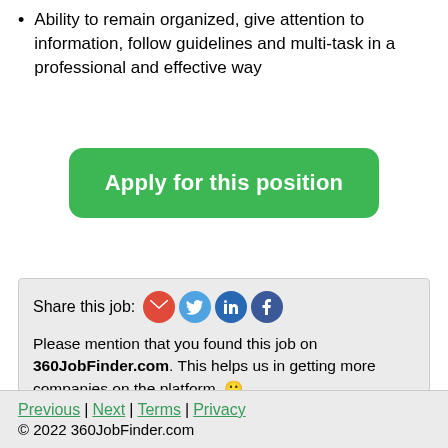Ability to remain organized, give attention to information, follow guidelines and multi-task in a professional and effective way
[Figure (other): Green rounded button labeled 'Apply for this position']
Share this job: [email icon] [twitter icon] [linkedin icon] [facebook icon]
Please mention that you found this job on 360JobFinder.com. This helps us in getting more companies on the platform. 🙂
Previous | Next | Terms | Privacy
© 2022 360JobFinder.com